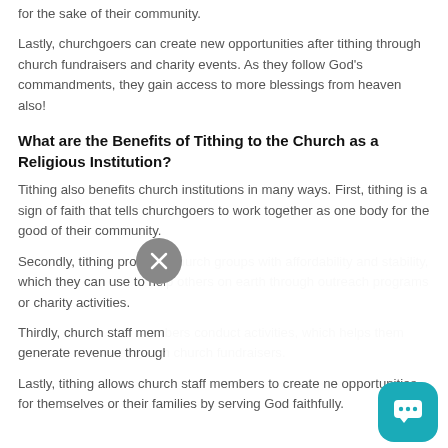for the sake of their community.
Lastly, churchgoers can create new opportunities after tithing through church fundraisers and charity events. As they follow God's commandments, they gain access to more blessings from heaven also!
What are the Benefits of Tithing to the Church as a Religious Institution?
Tithing also benefits church institutions in many ways. First, tithing is a sign of faith that tells churchgoers to work together as one body for the good of their community.
Secondly, tithing provides church groups with affordability and stability, which they can use to help others on earth through outreach programs or charity activities.
Thirdly, church staff members conduct activities, which helps them generate revenue through church fundraisers.
Lastly, tithing allows church staff members to create new opportunities for themselves or their families by serving God faithfully.